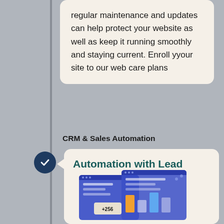regular maintenance and updates can help protect your website as well as keep it running smoothly and staying current. Enroll yyour site to our web care plans
CRM & Sales Automation
Automation with Lead Management, Email Marketing, and Social Media Management
[Figure (illustration): Isometric illustration of two overlapping browser/app windows with data elements, including a notification badge showing +256 and colored bar charts, representing CRM and sales automation tools.]